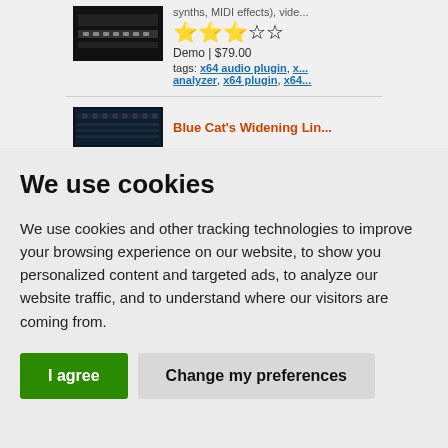synths, MIDI effects), vide... Demo | $79.00 tags: x64 audio plugin, x... analyzer, x64 plugin, x64...
[Figure (screenshot): Plugin product image - dark audio plugin interface]
Blue Cat's Widening Lin...
[Figure (screenshot): Blue Cat's Widening Linker plugin image - dark interface with controls]
We use cookies
We use cookies and other tracking technologies to improve your browsing experience on our website, to show you personalized content and targeted ads, to analyze our website traffic, and to understand where our visitors are coming from.
I agree | Change my preferences